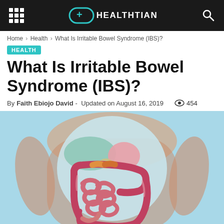HEALTHTIAN
Home > Health > What Is Irritable Bowel Syndrome (IBS)?
HEALTH
What Is Irritable Bowel Syndrome (IBS)?
By Faith Ebiojo David - Updated on August 16, 2019  454
[Figure (illustration): Medical illustration of the human digestive system showing intestines, stomach, liver, and colon against a light blue background with a human torso outline]